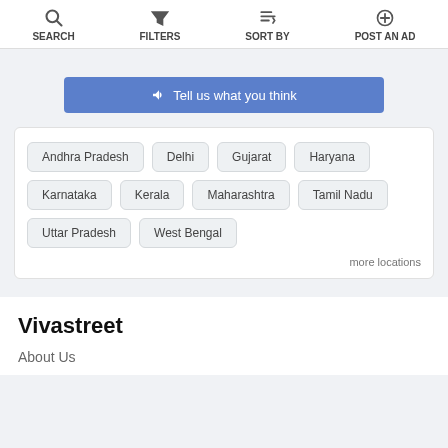[Figure (screenshot): Top navigation bar with SEARCH, FILTERS, SORT BY, and POST AN AD icons]
📣 Tell us what you think
Andhra Pradesh
Delhi
Gujarat
Haryana
Karnataka
Kerala
Maharashtra
Tamil Nadu
Uttar Pradesh
West Bengal
more locations
Vivastreet
About Us